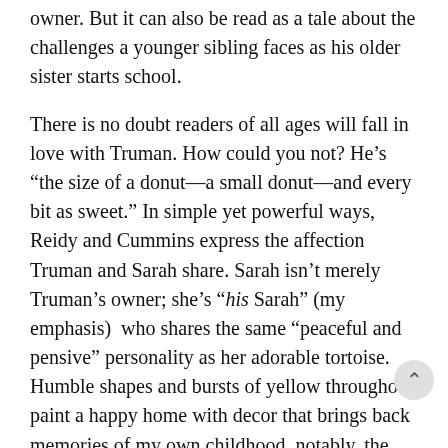owner. But it can also be read as a tale about the challenges a younger sibling faces as his older sister starts school.
There is no doubt readers of all ages will fall in love with Truman. How could you not? He’s “the size of a donut—a small donut—and every bit as sweet.” In simple yet powerful ways, Reidy and Cummins express the affection Truman and Sarah share. Sarah isn’t merely Truman’s owner; she’s “his Sarah” (my emphasis) who shares the same “peaceful and pensive” personality as her adorable tortoise. Humble shapes and bursts of yellow throughout paint a happy home with decor that brings back memories of my own childhood, notably, the Felix the Cat look-a-like clock on the wall.
This particular day, though, is “truly unsettling’ because Sarah is acting different. She eats a “big